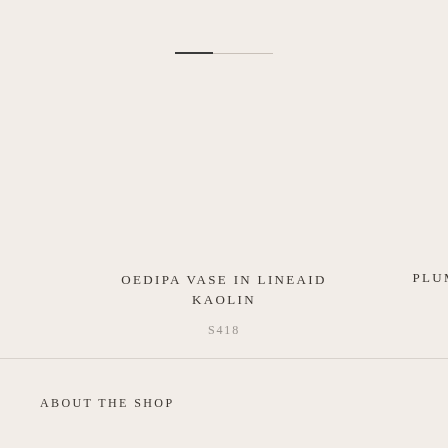[Figure (other): Progress/pagination indicator with a dark bar segment and a lighter bar segment, centered near the top of the page]
OEDIPA VASE IN LINEAID KAOLIN
S418
PLUM
ABOUT THE SHOP